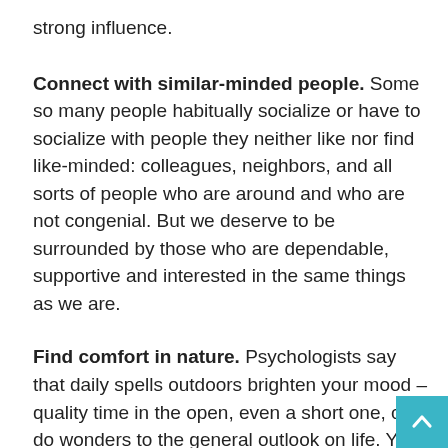strong influence.
Connect with similar-minded people. Some so many people habitually socialize or have to socialize with people they neither like nor find like-minded: colleagues, neighbors, and all sorts of people who are around and who are not congenial. But we deserve to be surrounded by those who are dependable, supportive and interested in the same things as we are.
Find comfort in nature. Psychologists say that daily spells outdoors brighten your mood – quality time in the open, even a short one, can do wonders to the general outlook on life. You won't feel anxious walking about a forest, bathing in a pond or warming yourself in the sun.
Find your creative side. Oftentimes, we have to neglect our creativity due to living in the fast lane or mistrusting our talents.